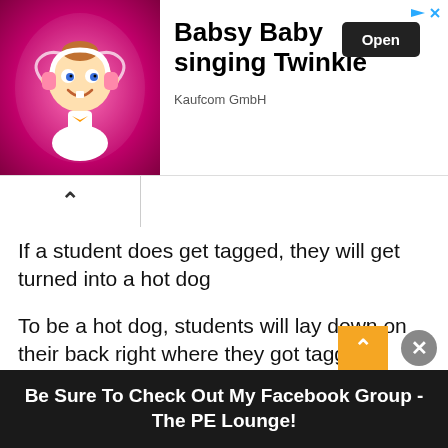[Figure (screenshot): Advertisement banner for 'Babsy Baby singing Twinkle' app by Kaufcom GmbH with a cartoon baby character on pink background, an Open button, and navigation arrows]
If a student does get tagged, they will get turned into a hot dog
To be a hot dog, students will lay down on their back right where they got tagged
[Figure (screenshot): Gym floor with wood texture, green person icon in top right, yellow dot in lower left]
Be Sure To Check Out My Facebook Group - The PE Lounge!